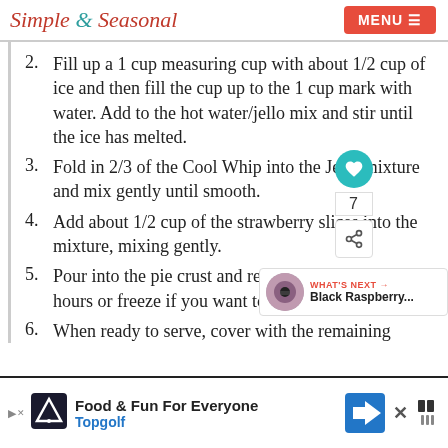Simple & Seasonal | MENU
2. Fill up a 1 cup measuring cup with about 1/2 cup of ice and then fill the cup up to the 1 cup mark with water. Add to the hot water/jello mix and stir until the ice has melted.
3. Fold in 2/3 of the Cool Whip into the Jello mixture and mix gently until smooth.
4. Add about 1/2 cup of the strawberry slices into the mixture, mixing gently.
5. Pour into the pie crust and refrigerate for at least 4 hours or freeze if you want to serve a frozen pie.
6. When ready to serve, cover with the remaining Cool Whip and garnish with the remaining...
[Figure (other): What's Next widget showing Black Raspberry thumbnail and social share icons (heart with count 7, share button)]
[Figure (other): Advertisement banner: Food & Fun For Everyone - Topgolf, with Topgolf logo and navigation arrow icon]